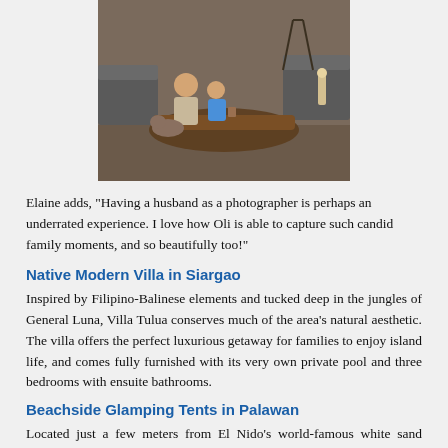[Figure (photo): A woman and child leaning over a large natural wood slab coffee table, with a dog nearby, in a stylishly furnished room with grey sofas and wooden decor.]
Elaine adds, “Having a husband as a photographer is perhaps an underrated experience. I love how Oli is able to capture such candid family moments, and so beautifully too!”
Native Modern Villa in Siargao
Inspired by Filipino-Balinese elements and tucked deep in the jungles of General Luna, Villa Tulua conserves much of the area’s natural aesthetic. The villa offers the perfect luxurious getaway for families to enjoy island life, and comes fully furnished with its very own private pool and three bedrooms with ensuite bathrooms.
Beachside Glamping Tents in Palawan
Located just a few meters from El Nido’s world-famous white sand beach, these glamping tents provide guests with easy access to clear blue waters and jewel-hued sunsets - perfect for a mini family photoshoot. The tents are set above stage, and can host a minimum of 200 to...